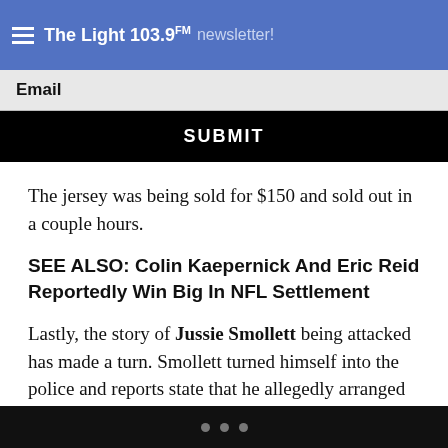The Light 103.9 FM newsletter!
Email
SUBMIT
The jersey was being sold for $150 and sold out in a couple hours.
SEE ALSO: Colin Kaepernick And Eric Reid Reportedly Win Big In NFL Settlement
Lastly, the story of Jussie Smollett being attacked has made a turn. Smollett turned himself into the police and reports state that he allegedly arranged his own attack.
• • •